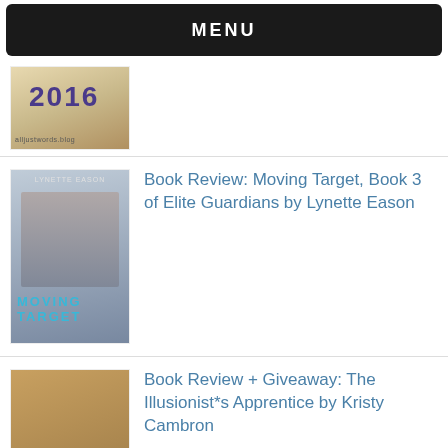MENU
[Figure (photo): Book cover thumbnail showing '2016' with decorative background]
Book Review: Moving Target, Book 3 of Elite Guardians by Lynette Eason
Book Review + Giveaway: The Illusionist*s Apprentice by Kristy Cambron
Rachelle Rea Cobb*s The Emeralds Birthday Blog Tour + Giveaway